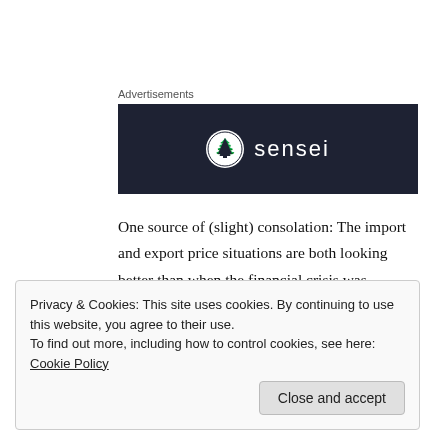Advertisements
[Figure (logo): Sensei logo — dark navy banner with a circular tree icon and the word 'sensei' in white letters]
One source of (slight) consolation: The import and export price situations are both looking better than when the financial crisis was peaking, in 2008. That year, both sets of prices saw month-to-month drops for five straight months – and the declines were much bigger, especially on the import side. At the same time, that was a period when the world economy was
Privacy & Cookies: This site uses cookies. By continuing to use this website, you agree to their use.
To find out more, including how to control cookies, see here: Cookie Policy
Close and accept